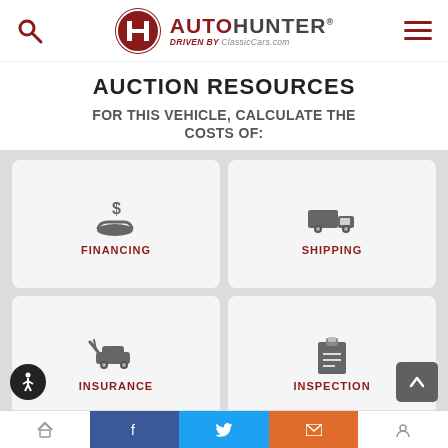AUTOHUNTER DRIVEN BY ClassicCars.com
AUCTION RESOURCES
FOR THIS VEHICLE, CALCULATE THE COSTS OF:
[Figure (infographic): Four resource cards: Financing (dollar/hand icon), Shipping (truck icon), Insurance (car crash icon), Inspection (clipboard icon)]
If a bid is placed within the last minute of an auction, an